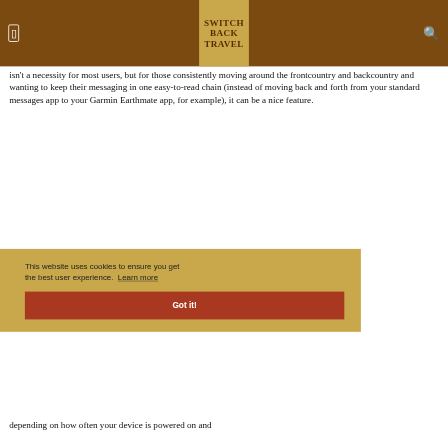SWITCH BACK TRAVEL
isn't a necessity for most users, but for those consistently moving around the frontcountry and backcountry and wanting to keep their messaging in one easy-to-read chain (instead of moving back and forth from your standard messages app to your Garmin Earthmate app, for example), it can be a nice feature.
This website uses cookies to ensure you get the best user experience. Learn more
Got it!
depending on how often your device is powered on and